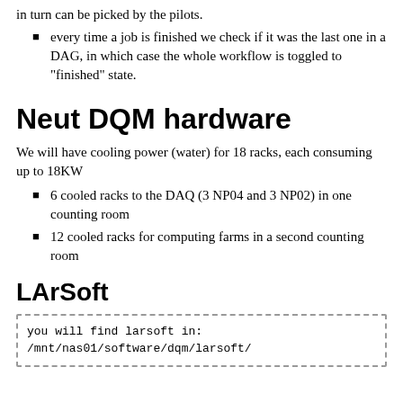in turn can be picked by the pilots.
every time a job is finished we check if it was the last one in a DAG, in which case the whole workflow is toggled to "finished" state.
Neut DQM hardware
We will have cooling power (water) for 18 racks, each consuming up to 18KW
6 cooled racks to the DAQ (3 NP04 and 3 NP02) in one counting room
12 cooled racks for computing farms in a second counting room
LArSoft
you will find larsoft in:
/mnt/nas01/software/dqm/larsoft/